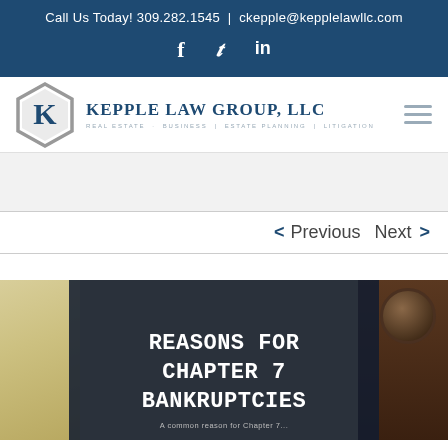Call Us Today! 309.282.1545 | ckepple@kepplelawllc.com
[Figure (logo): Kepple Law Group LLC logo with hexagon-K icon and tagline: REAL ESTATE · BUSINESS | ESTATE PLANNING | LITIGATION]
< Previous   Next >
[Figure (other): Article header image with dark overlay card showing 'REASONS FOR CHAPTER 7 BANKRUPTCIES' in monospace font, with coffee cup and wood background]